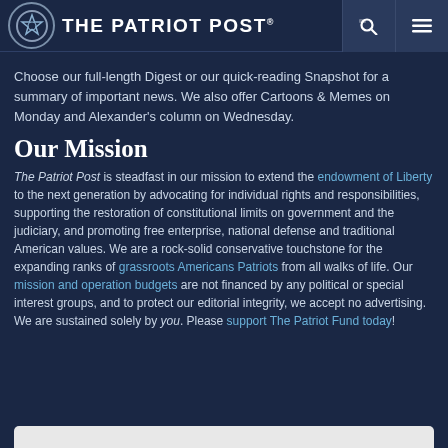The Patriot Post
Choose our full-length Digest or our quick-reading Snapshot for a summary of important news. We also offer Cartoons & Memes on Monday and Alexander's column on Wednesday.
Our Mission
The Patriot Post is steadfast in our mission to extend the endowment of Liberty to the next generation by advocating for individual rights and responsibilities, supporting the restoration of constitutional limits on government and the judiciary, and promoting free enterprise, national defense and traditional American values. We are a rock-solid conservative touchstone for the expanding ranks of grassroots Americans Patriots from all walks of life. Our mission and operation budgets are not financed by any political or special interest groups, and to protect our editorial integrity, we accept no advertising. We are sustained solely by you. Please support The Patriot Fund today!